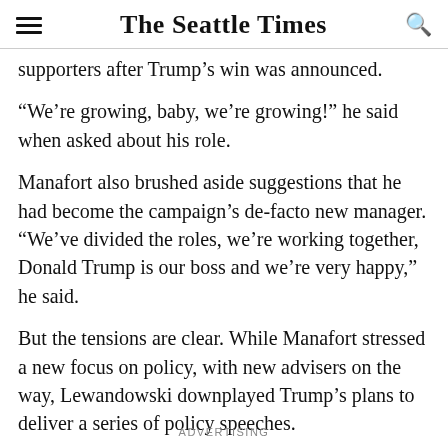The Seattle Times
supporters after Trump's win was announced.
“We’re growing, baby, we’re growing!” he said when asked about his role.
Manafort also brushed aside suggestions that he had become the campaign’s de-facto new manager. “We’ve divided the roles, we’re working together, Donald Trump is our boss and we’re very happy,” he said.
But the tensions are clear. While Manafort stressed a new focus on policy, with new advisers on the way, Lewandowski downplayed Trump’s plans to deliver a series of policy speeches.
ADVERTISING